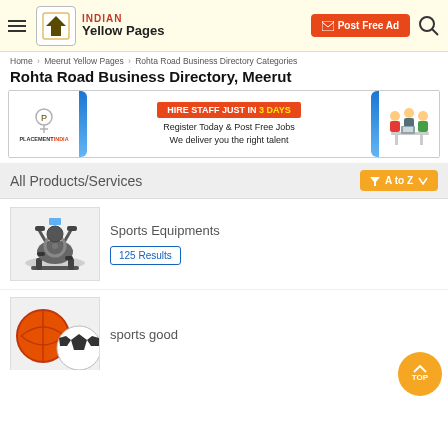Indian Yellow Pages — Post Free Ad
Home > Meerut Yellow Pages > Rohta Road Business Directory Categories
Rohta Road Business Directory, Meerut
[Figure (photo): PlacementIndia advertisement banner: HIRE STAFF JUST IN 3 DAYS - Register Today & Post Free Jobs - We deliver you the right talent]
All Products/Services
A to Z (filter dropdown)
[Figure (photo): Sports equipment - elliptical trainer machine]
Sports Equipments
125 Results
[Figure (photo): Sports balls - basketball and soccer ball]
sports good